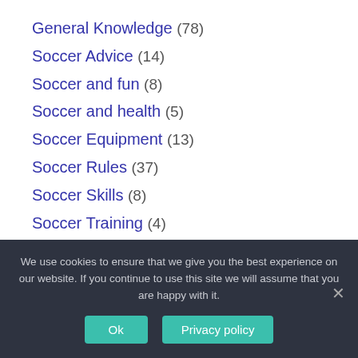General Knowledge (78)
Soccer Advice (14)
Soccer and fun (8)
Soccer and health (5)
Soccer Equipment (13)
Soccer Rules (37)
Soccer Skills (8)
Soccer Training (4)
Soccer tutorials (18)
We use cookies to ensure that we give you the best experience on our website. If you continue to use this site we will assume that you are happy with it.
Ok   Privacy policy